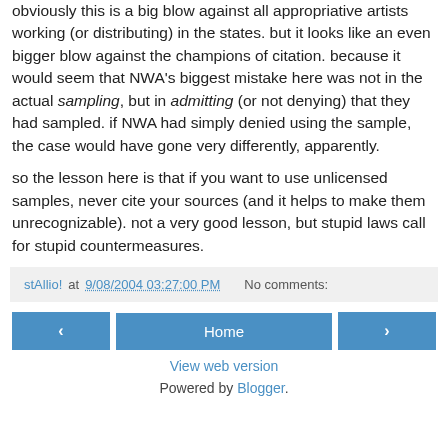obviously this is a big blow against all appropriative artists working (or distributing) in the states. but it looks like an even bigger blow against the champions of citation. because it would seem that NWA's biggest mistake here was not in the actual sampling, but in admitting (or not denying) that they had sampled. if NWA had simply denied using the sample, the case would have gone very differently, apparently.

so the lesson here is that if you want to use unlicensed samples, never cite your sources (and it helps to make them unrecognizable). not a very good lesson, but stupid laws call for stupid countermeasures.
stAllio! at 9/08/2004 03:27:00 PM   No comments:
‹   Home   ›
View web version
Powered by Blogger.